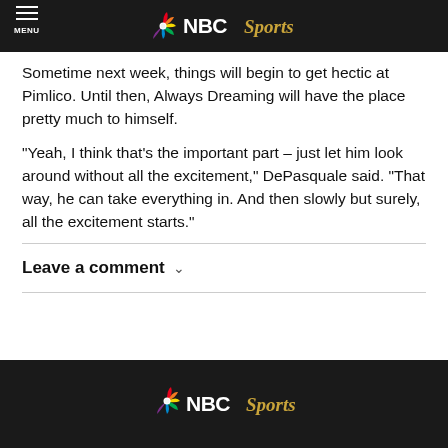NBC Sports
Sometime next week, things will begin to get hectic at Pimlico. Until then, Always Dreaming will have the place pretty much to himself.
“Yeah, I think that’s the important part – just let him look around without all the excitement,” DePasquale said. “That way, he can take everything in. And then slowly but surely, all the excitement starts.”
Leave a comment
NBC Sports